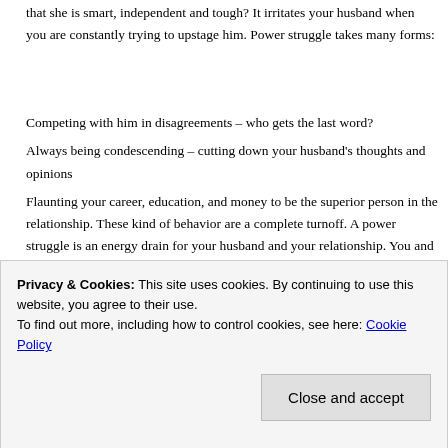that she is smart, independent and tough? It irritates your husband when you are constantly trying to upstage him. Power struggle takes many forms:
Competing with him in disagreements – who gets the last word?
Always being condescending – cutting down your husband's thoughts and opinions
Flaunting your career, education, and money to be the superior person in the relationship. These kind of behavior are a complete turnoff. A power struggle is an energy drain for your husband and your relationship. You and your husband are a team. Don't ever forget that.
Privacy & Cookies: This site uses cookies. By continuing to use this website, you agree to their use.
To find out more, including how to control cookies, see here: Cookie Policy
Close and accept